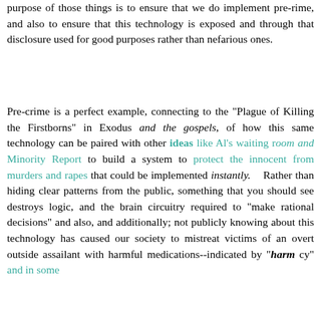purpose of those things is to ensure that we do implement pre-rime, and also to ensure that this technology is exposed and through that disclosure used for good purposes rather than nefarious ones.
Pre-crime is a perfect example, connecting to the "Plague of Killing the Firstborns" in Exodus and the gospels, of how this same technology can be paired with other ideas like Al's waiting room and Minority Report to build a system to protect the innocent from murders and rapes that could be implemented instantly. Rather than hiding clear patterns from the public, something that you should see destroys logic, and the brain circuitry required to "make rational decisions" and also, and additionally; not publicly knowing about this technology has caused our society to mistreat victims of an overt outside assailant with harmful medications--indicated by "harm cy" and in some